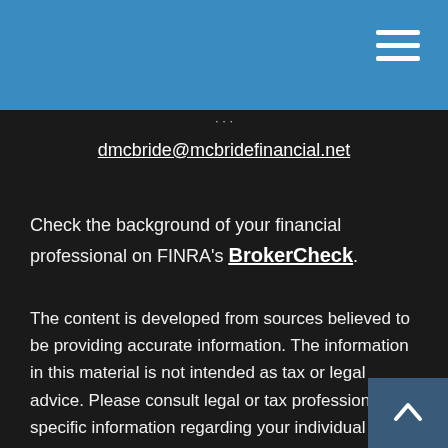dmcbride@mcbridefinancial.net
Check the background of your financial professional on FINRA's BrokerCheck.
The content is developed from sources believed to be providing accurate information. The information in this material is not intended as tax or legal advice. Please consult legal or tax professionals for specific information regarding your individual situation. Some of this material was developed and produced by FMG Suite to provide information on a topic that may be of interest. FMG Suite is not affiliated with the named representative, broker - dealer, state - or